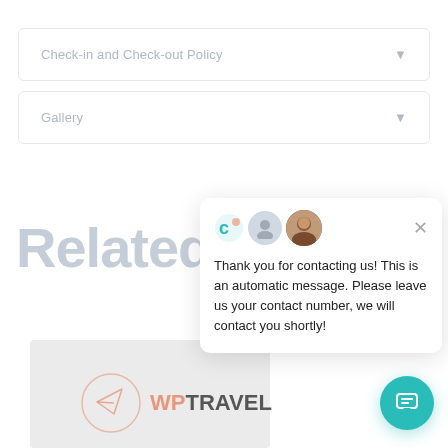Check-in and Check-out Policy
Gallery
Related
[Figure (screenshot): Chat popup overlay with teal logo icon, gray avatar, and female avatar photo. Close X button. Message reads: Thank you for contacting us! This is an automatic message. Please leave us your contact number, we will contact you shortly!]
[Figure (logo): WP Travel logo: circular paper airplane icon with salmon/coral outline, text WP in coral/salmon and TRAVEL in dark gray]